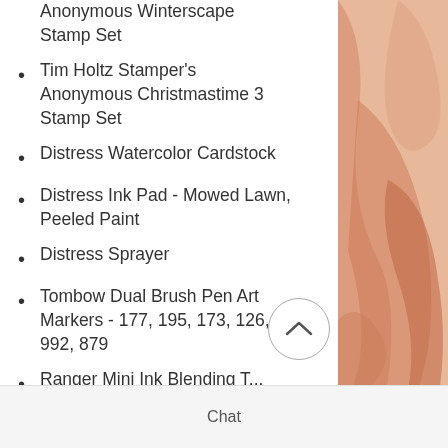Anonymous Winterscape Stamp Set
Tim Holtz Stamper's Anonymous Christmastime 3 Stamp Set
Distress Watercolor Cardstock
Distress Ink Pad - Mowed Lawn, Peeled Paint
Distress Sprayer
Tombow Dual Brush Pen Art Markers - 177, 195, 173, 126, 992, 879
Ranger Mini Ink Blending T...
Ranger Perfect Pearls Pigment
Chat